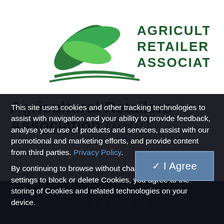[Figure (logo): Agricultural Retailers Association logo with green leaf/plant graphic and text 'Agricultural Retailers Association' in dark green]
Agricultural Retailers Association (ARA)
This site uses cookies and other tracking technologies to assist with navigation and your ability to provide feedback, analyse your use of products and services, assist with our promotional and marketing efforts, and provide content from third parties. Privacy Policy.

By continuing to browse without changing your browser settings to block or delete Cookies, you agree to the storing of Cookies and related technologies on your device.
✓ I Agree
AgraX